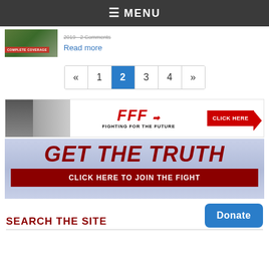≡ MENU
2019 · 2 Comments
Read more
« 1 2 3 4 »
[Figure (infographic): Fighting For the Future (FFF) banner with capitol building image, FFF red italic logo with arrows, and a red CLICK HERE arrow button]
[Figure (infographic): GET THE TRUTH banner with dark red large bold italic text over faded background, and a dark red bar reading CLICK HERE TO JOIN THE FIGHT]
SEARCH THE SITE
Donate